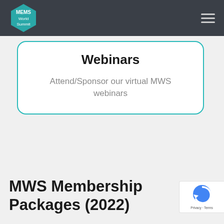MEMS World Summit — navigation bar with logo and hamburger menu
Webinars
Attend/Sponsor our virtual MWS webinars
MWS Membership Packages (2022)